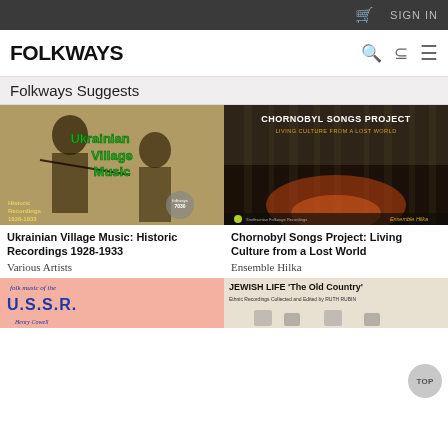SIGN IN
FOLKWAYS
Folkways Suggests
[Figure (photo): Album cover: Ukrainian Village Music - Historic Recordings 1928-1933. Black and white photo of two men playing violin, with green and red stylized text overlay.]
[Figure (photo): Album cover: Chornobyl Songs Project - Living Culture from a Lost World. Dark atmospheric forest scene with orange glow, Ensemble Hilka credited at bottom.]
Ukrainian Village Music: Historic Recordings 1928-1933
Various Artists
Chornobyl Songs Project: Living Culture from a Lost World
Ensemble Hilka
[Figure (photo): Album cover: Folk Music of the U.S.S.R. by Henry Cowell. Pink background with bold blue text.]
[Figure (photo): Album cover: Jewish Life 'The Old Country' - Ethnic Recordings Collected and Edited by Ruth Rubin.]